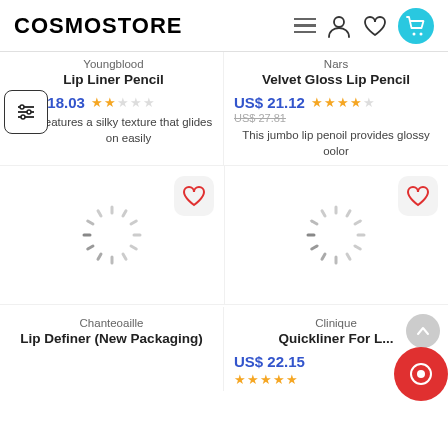COSMOSTORE
Youngblood
Lip Liner Pencil
US$ 18.03
Features a silky texture that glides on easily
Nars
Velvet Gloss Lip Pencil
US$ 21.12
US$ 27.81 (original price)
This jumbo lip penoil provides glossy oolor
[Figure (other): Loading spinner for product image with heart/favorite button overlay]
[Figure (other): Loading spinner for product image with heart/favorite button overlay]
Chanteoaille
Lip Definer (New Packaging)
Clinique
Quickliner For L...
US$ 22.15